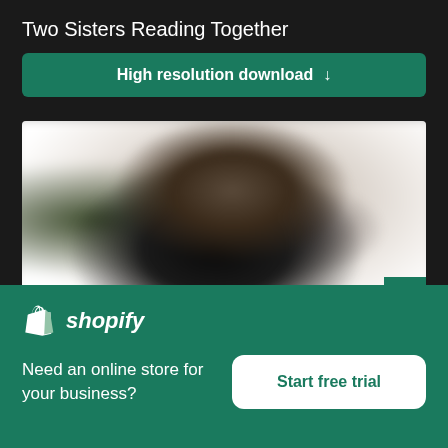Two Sisters Reading Together
High resolution download ↓
[Figure (photo): Blurred photo of two people (sisters) sitting together reading, with foliage in background and bright light on the right side]
× (close button)
[Figure (logo): Shopify logo — shopping bag icon with letter S and the word shopify in italic]
Need an online store for your business?
Start free trial